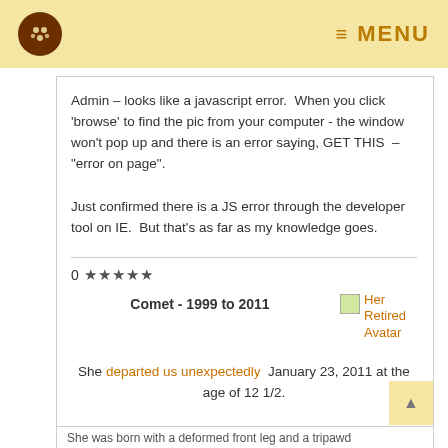MENU
Admin – looks like a javascript error.  When you click 'browse' to find the pic from your computer - the window won't pop up and there is an error saying, GET THIS  – "error on page".
Just confirmed there is a JS error through the developer tool on IE.  But that's as far as my knowledge goes.
0 ★★★★★
Comet - 1999 to 2011
[Figure (photo): Her Retired Avatar - small image placeholder]
She departed us unexpectedly  January 23, 2011 at the age of 12 1/2.
She was born with a deformed front leg and a tripawd